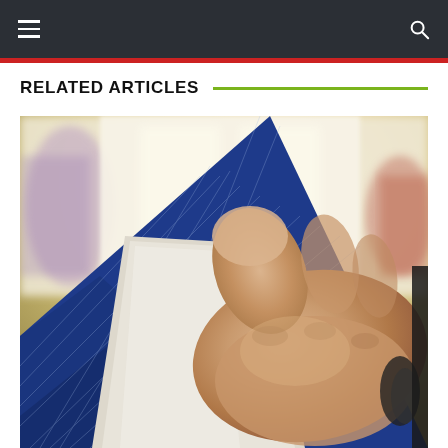Navigation bar with hamburger menu and search icon
RELATED ARTICLES
[Figure (photo): Close-up photo of a man in a blue pinstripe suit with white shirt cuff, hand resting on a surface, blurred office/conference room in background]